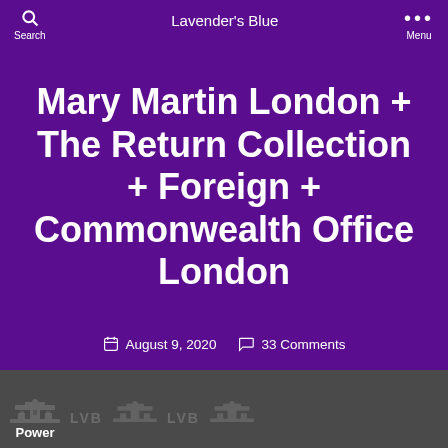Lavender's Blue
Mary Martin London + The Return Collection + Foreign + Commonwealth Office London
August 9, 2020   33 Comments
[Figure (screenshot): Bottom grey bar with repeating building icons and LVB logo text, and 'Power' text label]
Power